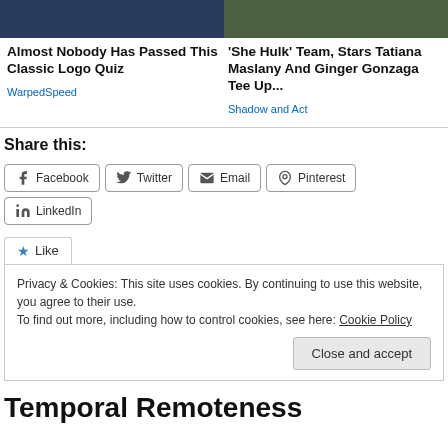[Figure (photo): Two article thumbnail images side by side at top of page]
Almost Nobody Has Passed This Classic Logo Quiz
WarpedSpeed
'She Hulk' Team, Stars Tatiana Maslany And Ginger Gonzaga Tee Up...
Shadow and Act
Share this:
Facebook
Twitter
Email
Pinterest
LinkedIn
★ Like
Privacy & Cookies: This site uses cookies. By continuing to use this website, you agree to their use.
To find out more, including how to control cookies, see here: Cookie Policy
Close and accept
Temporal Remoteness